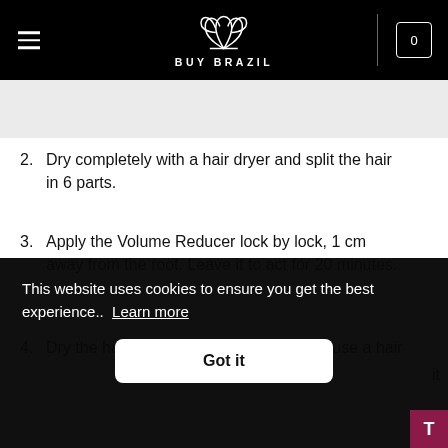BUY BRAZIL
2. Dry completely with a hair dryer and split the hair in 6 parts.
3. Apply the Volume Reducer lock by lock, 1 cm away from the root. Leave it to act for 20 minutes.
4. Dry the hair completely with a dryer and use a hair
This website uses cookies to ensure you get the best experience..  Learn more
Got it